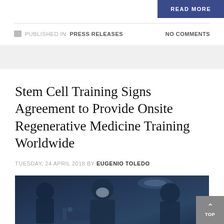READ MORE
PUBLISHED IN PRESS RELEASES    NO COMMENTS
Stem Cell Training Signs Agreement to Provide Onsite Regenerative Medicine Training Worldwide
TUESDAY, 24 APRIL 2018 BY EUGENIO TOLEDO
[Figure (photo): Surgical team in operating room, blue-tinted image showing medical professionals performing a procedure]